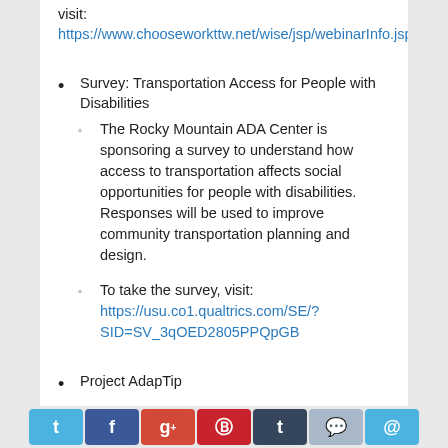visit:
https://www.chooseworkttw.net/wise/jsp/webinarInfo.jsp
Survey:  Transportation Access for People with Disabilities
The Rocky Mountain ADA Center is sponsoring a survey to understand how access to transportation affects social opportunities for people with disabilities. Responses will be used to improve community transportation planning and design.
To take the survey, visit: https://usu.co1.qualtrics.com/SE/?SID=SV_3qOED2805PPQpGB
Project AdapTip